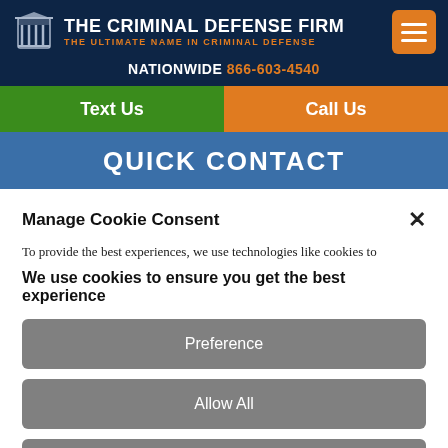[Figure (logo): The Criminal Defense Firm logo with columned building icon, white text firm name, orange subtitle, and orange hamburger menu button on dark navy background]
NATIONWIDE 866-603-4540
Text Us
Call Us
QUICK CONTACT
Manage Cookie Consent
To provide the best experiences, we use technologies like cookies to
We use cookies to ensure you get the best experience
Preference
Allow All
Disable All